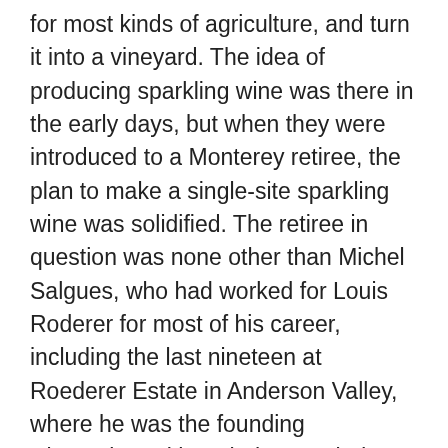for most kinds of agriculture, and turn it into a vineyard. The idea of producing sparkling wine was there in the early days, but when they were introduced to a Monterey retiree, the plan to make a single-site sparkling wine was solidified. The retiree in question was none other than Michel Salgues, who had worked for Louis Roderer for most of his career, including the last nineteen at Roederer Estate in Anderson Valley, where he was the founding winemaker. Although they settled on the Mendocino site, in the early days, Salgues and his team had looked at other areas in California, including Santa Barbara and Monterey. As he moved on to international consulting, and splitting his time between France and the US, he had found Monterey to be a charming home base and could often be found at Passionfish or The Sardine Factory. They began planting these 124 acres in 2008, while also